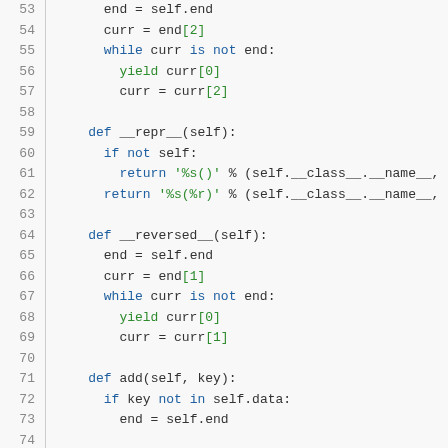Code listing lines 53-74: Python linked list methods __iter__, __repr__, __reversed__, add
[Figure (screenshot): Python source code showing linked list class methods with syntax highlighting. Lines 53-74 covering iteration, repr, reversed iteration, and add methods.]